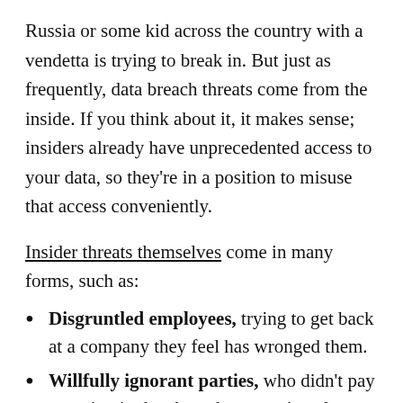Russia or some kid across the country with a vendetta is trying to break in. But just as frequently, data breach threats come from the inside. If you think about it, it makes sense; insiders already have unprecedented access to your data, so they're in a position to misuse that access conveniently.
Insider threats themselves come in many forms, such as:
Disgruntled employees, trying to get back at a company they feel has wronged them.
Willfully ignorant parties, who didn't pay attention in data breach prevention class.
Corporate espionage/colluding parties, who are